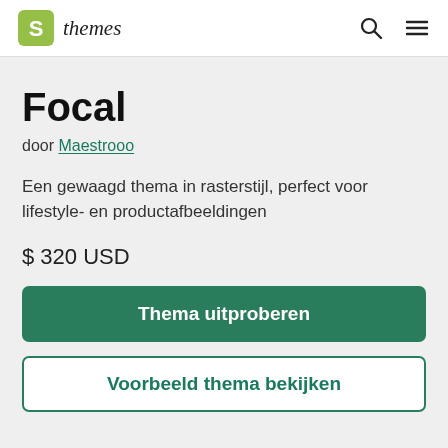themes
Focal
door Maestrooo
Een gewaagd thema in rasterstijl, perfect voor lifestyle- en productafbeeldingen
$ 320 USD
Thema uitproberen
Voorbeeld thema bekijken